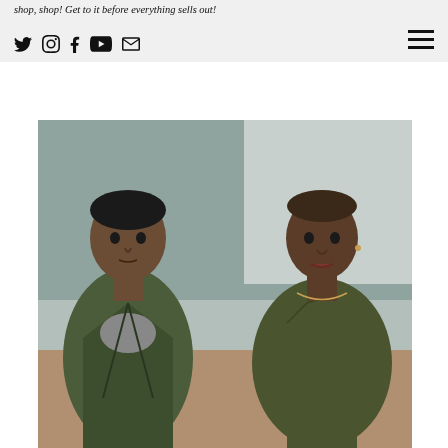shop, shop! Get to it before everything sells out!
[Figure (photo): Two people standing in front of a teal/green brick wall. Left person: young man wearing a camouflage jacket over a grey shirt. Right person: woman with shaved head wearing an orange top under a dark olive/khaki jacket.]